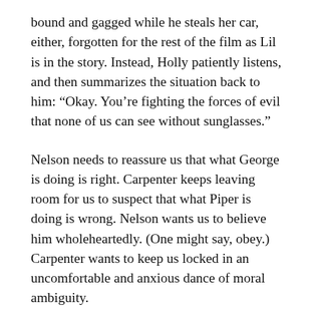bound and gagged while he steals her car, either, forgotten for the rest of the film as Lil is in the story. Instead, Holly patiently listens, and then summarizes the situation back to him: “Okay. You’re fighting the forces of evil that none of us can see without sunglasses.”
Nelson needs to reassure us that what George is doing is right. Carpenter keeps leaving room for us to suspect that what Piper is doing is wrong. Nelson wants us to believe him wholeheartedly. (One might say, obey.) Carpenter wants to keep us locked in an uncomfortable and anxious dance of moral ambiguity.
The confusion echoes through Piper’s performance, as he seems to teeter on the line between hapless putz and action hero without definitively falling into either category. His faltering, reluctant ascent to